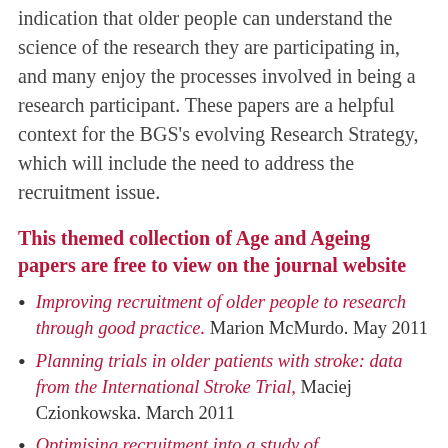indication that older people can understand the science of the research they are participating in, and many enjoy the processes involved in being a research participant. These papers are a helpful context for the BGS's evolving Research Strategy, which will include the need to address the recruitment issue.
This themed collection of Age and Ageing papers are free to view on the journal website
Improving recruitment of older people to research through good practice. Marion McMurdo. May 2011
Planning trials in older patients with stroke: data from the International Stroke Trial, Maciej Czionkowska. March 2011
Optimising recruitment into a study of